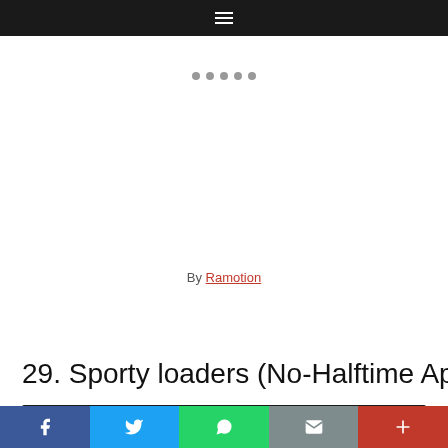Navigation menu
[Figure (other): Pagination dots row (5 grey circles)]
By Ramotion
29. Sporty loaders (No-Halftime App)
[Figure (screenshot): Dark image/banner strip preview]
Social sharing bar: Facebook, Twitter, WhatsApp, Email, More